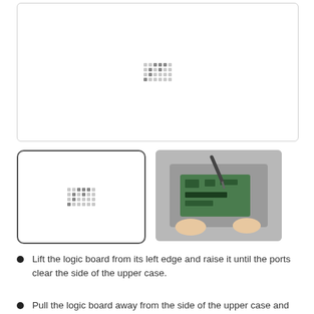[Figure (photo): Large main image area showing a placeholder/loading image with dot pattern in the center, inside a rounded rectangle border]
[Figure (photo): Thumbnail 1: placeholder image with dot pattern, selected/highlighted with dark border]
[Figure (photo): Thumbnail 2: photo of hands lifting a logic board from a laptop, showing green circuit board and laptop chassis]
Lift the logic board from its left edge and raise it until the ports clear the side of the upper case.
Pull the logic board away from the side of the upper case and remove it, minding the DC-In board that may get caught.